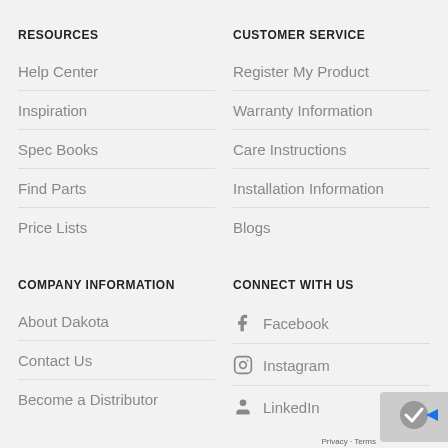RESOURCES
Help Center
Inspiration
Spec Books
Find Parts
Price Lists
CUSTOMER SERVICE
Register My Product
Warranty Information
Care Instructions
Installation Information
Blogs
COMPANY INFORMATION
About Dakota
Contact Us
Become a Distributor
CONNECT WITH US
Facebook
Instagram
LinkedIn